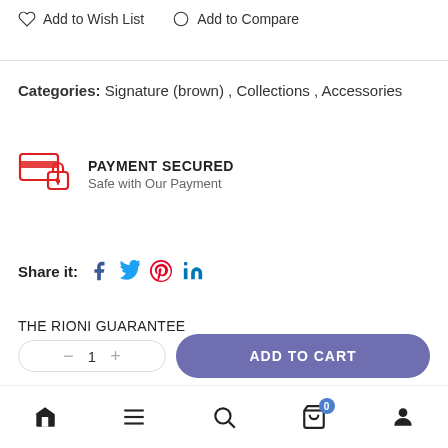Add to Wish List   Add to Compare
Categories:  Signature (brown) , Collections , Accessories
[Figure (infographic): Payment secured icon with credit card and lock in red]
PAYMENT SECURED
Safe with Our Payment
Share it:  f  Twitter  Pinterest  in
THE RIONI GUARANTEE
We promise that you will satisfied with the quality of this
Home  Menu  Search  Cart (0)  Account